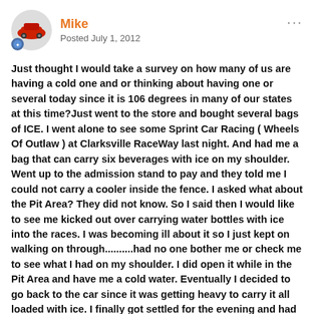Mike
Posted July 1, 2012
Just thought I would take a survey on how many of us are having a cold one and or thinking about having one or several today since it is 106 degrees in many of our states at this time?Just went to the store and bought several bags of ICE. I went alone to see some Sprint Car Racing ( Wheels Of Outlaw ) at Clarksville RaceWay last night. And had me a bag that can carry six beverages with ice on my shoulder. Went up to the admission stand to pay and they told me I could not carry a cooler inside the fence. I asked what about the Pit Area? They did not know. So I said then I would like to see me kicked out over carrying water bottles with ice into the races. I was becoming ill about it so I just kept on walking on through..........had no one bother me or check me to see what I had on my shoulder. I did open it while in the Pit Area and have me a cold water. Eventually I decided to go back to the car since it was getting heavy to carry it all loaded with ice. I finally got settled for the evening and had a good time sitting with some other codgers just like me. Who says ya can't have fun by yourself?